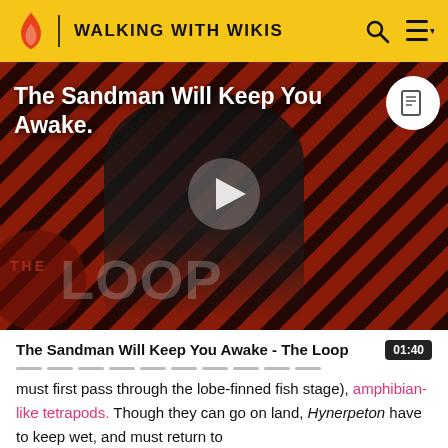WALKING WITH WIKIS
[Figure (screenshot): Video thumbnail showing a dark-robed figure against a diagonal red and black striped background. Title text reads 'The Sandman Will Keep You Awake.' with a play button in the center and 'THE LOOP' watermark overlay at the bottom left.]
The Sandman Will Keep You Awake - The Loop  01:40
must first pass through the lobe-finned fish stage), amphibian-like tetrapods. Though they can go on land, Hynerpeton have to keep wet, and must return to